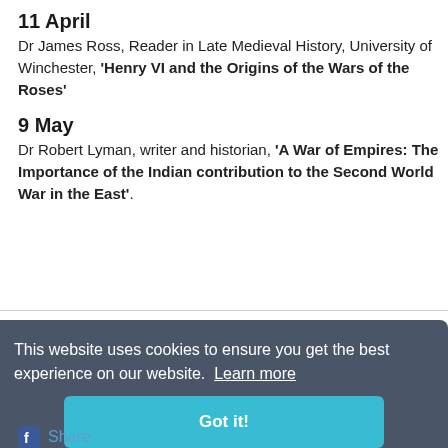11 April
Dr James Ross, Reader in Late Medieval History, University of Winchester, ‘Henry VI and the Origins of the Wars of the Roses’
9 May
Dr Robert Lyman, writer and historian, ‘A War of Empires: The Importance of the Indian contribution to the Second World War in the East’.
+ Add to My HA
This website uses cookies to ensure you get the best experience on our website. Learn more
Got it!
Email
Share